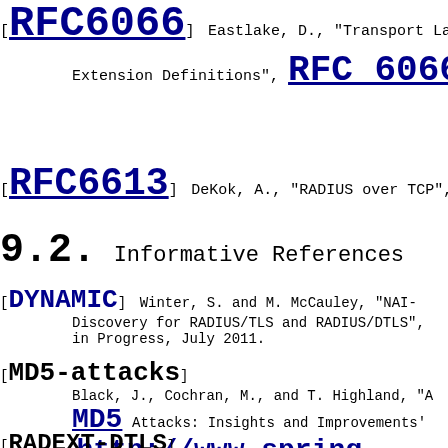[RFC6066] Eastlake, D., "Transport Layer Se Extension Definitions", RFC 6066
[RFC6613] DeKok, A., "RADIUS over TCP", R
9.2. Informative References
[DYNAMIC] Winter, S. and M. McCauley, "NAI- Discovery for RADIUS/TLS and RADIUS/DTLS", in Progress, July 2011.
[MD5-attacks] Black, J., Cochran, M., and T. Highland, "A MD5 Attacks: Insights and Improvements' <http://www.spring
[RADEXT-DTLS]